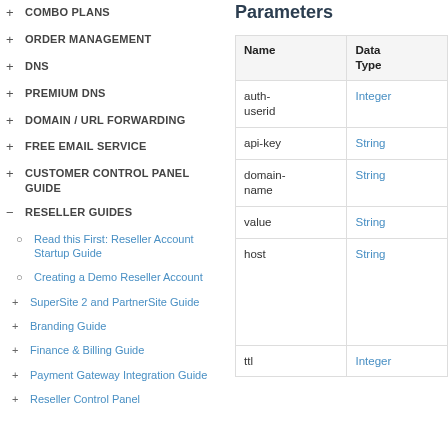+ COMBO PLANS
+ ORDER MANAGEMENT
+ DNS
+ PREMIUM DNS
+ DOMAIN / URL FORWARDING
+ FREE EMAIL SERVICE
+ CUSTOMER CONTROL PANEL GUIDE
- RESELLER GUIDES
○ Read this First: Reseller Account Startup Guide
○ Creating a Demo Reseller Account
+ SuperSite 2 and PartnerSite Guide
+ Branding Guide
+ Finance & Billing Guide
+ Payment Gateway Integration Guide
+ Reseller Control Panel
Parameters
| Name | Data Type |
| --- | --- |
| auth-userid | Integer |
| api-key | String |
| domain-name | String |
| value | String |
| host | String |
| ttl | Integer |